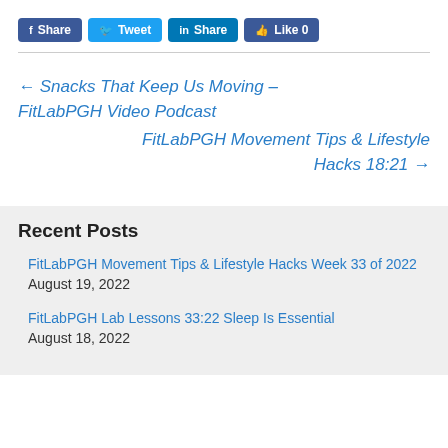[Figure (other): Social share buttons: Facebook Share, Tweet, LinkedIn Share, Like 0]
← Snacks That Keep Us Moving – FitLabPGH Video Podcast
FitLabPGH Movement Tips & Lifestyle Hacks 18:21 →
Recent Posts
FitLabPGH Movement Tips & Lifestyle Hacks Week 33 of 2022 August 19, 2022
FitLabPGH Lab Lessons 33:22 Sleep Is Essential August 18, 2022